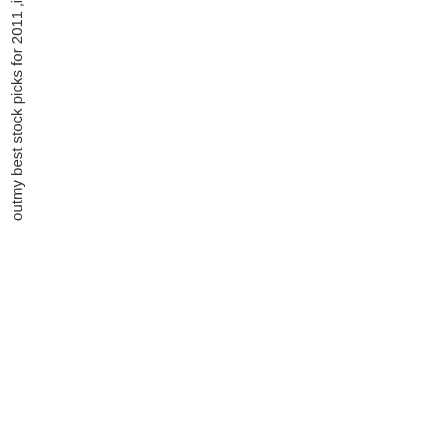outmy best stock picks for 2011 .i